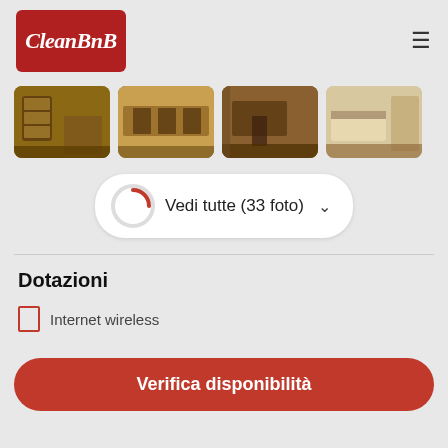[Figure (logo): CleanBnB logo — white italic bold text on dark red rounded rectangle background]
[Figure (photo): Four thumbnail photos of apartment interior rooms showing wooden floors, furniture, dining area, desk, and bedroom]
Vedi tutte (33 foto)
Dotazioni
Internet wireless
Verifica disponibilità